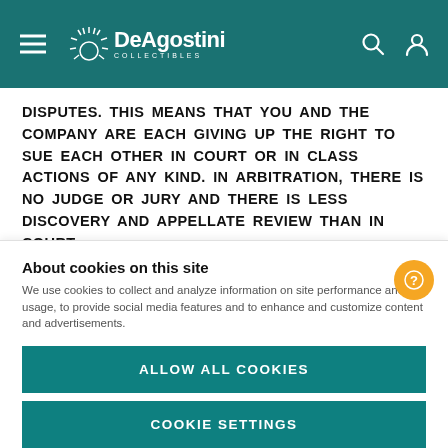DeAgostini Collectibles
DISPUTES. THIS MEANS THAT YOU AND THE COMPANY ARE EACH GIVING UP THE RIGHT TO SUE EACH OTHER IN COURT OR IN CLASS ACTIONS OF ANY KIND. IN ARBITRATION, THERE IS NO JUDGE OR JURY AND THERE IS LESS DISCOVERY AND APPELLATE REVIEW THAN IN COURT.
1. Acceptance of the Terms of Use
These terms of use are entered into by and between You and De
About cookies on this site
We use cookies to collect and analyze information on site performance and usage, to provide social media features and to enhance and customize content and advertisements.
ALLOW ALL COOKIES
COOKIE SETTINGS